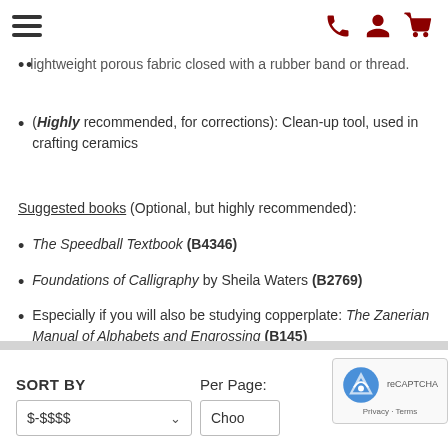[hamburger menu] [phone icon] [user icon] [cart icon]
lightweight porous fabric closed with a rubber band or thread.
(Highly recommended, for corrections): Clean-up tool, used in crafting ceramics
Suggested books (Optional, but highly recommended):
The Speedball Textbook (B4346)
Foundations of Calligraphy by Sheila Waters (B2769)
Especially if you will also be studying copperplate: The Zanerian Manual of Alphabets and Engrossing (B145)
SORT BY
$-$$$$
Per Page:
Choo